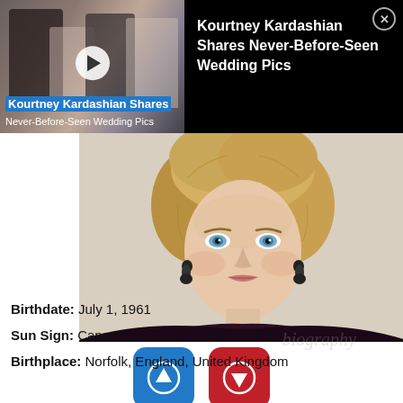[Figure (screenshot): Ad banner: video thumbnail of people in formal wear with play button overlay, title 'Kourtney Kardashian Shares Never-Before-Seen Wedding Pics' on black background with close button]
[Figure (photo): Portrait photograph of Princess Diana with blonde upswept hair, blue eyes, wearing dark off-shoulder top, pearl and sapphire earrings]
[Figure (infographic): Blue upvote button showing 31 votes and red downvote button showing 7 votes]
Birthdate: July 1, 1961
Sun Sign: Cancer
Birthplace: Norfolk, England, United Kingdom